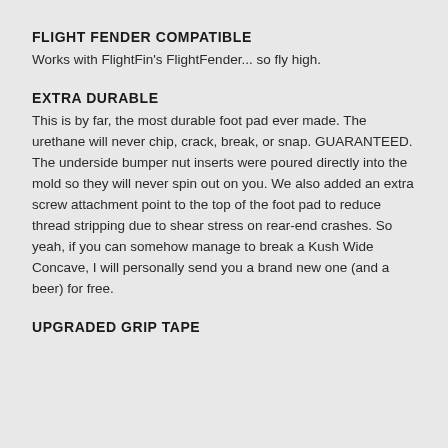FLIGHT FENDER COMPATIBLE
Works with FlightFin's FlightFender... so fly high.
EXTRA DURABLE
This is by far, the most durable foot pad ever made. The urethane will never chip, crack, break, or snap. GUARANTEED. The underside bumper nut inserts were poured directly into the mold so they will never spin out on you. We also added an extra screw attachment point to the top of the foot pad to reduce thread stripping due to shear stress on rear-end crashes. So yeah, if you can somehow manage to break a Kush Wide Concave, I will personally send you a brand new one (and a beer) for free.
UPGRADED GRIP TAPE